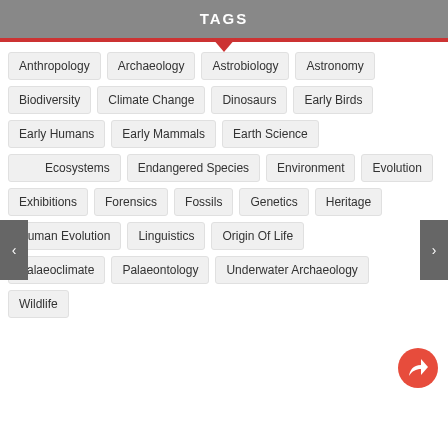TAGS
Anthropology
Archaeology
Astrobiology
Astronomy
Biodiversity
Climate Change
Dinosaurs
Early Birds
Early Humans
Early Mammals
Earth Science
Ecosystems
Endangered Species
Environment
Evolution
Exhibitions
Forensics
Fossils
Genetics
Heritage
Human Evolution
Linguistics
Origin Of Life
Palaeoclimate
Palaeontology
Underwater Archaeology
Wildlife